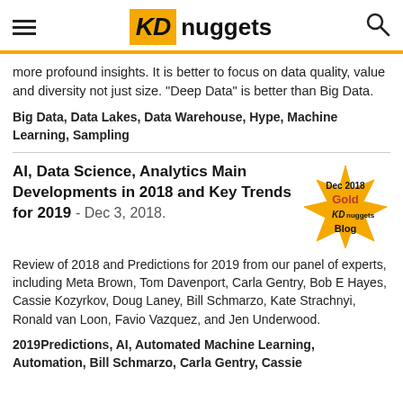[Figure (logo): KDnuggets logo with hamburger menu and search icon]
more profound insights. It is better to focus on data quality, value and diversity not just size. "Deep Data" is better than Big Data.
Big Data, Data Lakes, Data Warehouse, Hype, Machine Learning, Sampling
AI, Data Science, Analytics Main Developments in 2018 and Key Trends for 2019 - Dec 3, 2018.
Review of 2018 and Predictions for 2019 from our panel of experts, including Meta Brown, Tom Davenport, Carla Gentry, Bob E Hayes, Cassie Kozyrkov, Doug Laney, Bill Schmarzo, Kate Strachnyi, Ronald van Loon, Favio Vazquez, and Jen Underwood.
2019Predictions, AI, Automated Machine Learning, Automation, Bill Schmarzo, Carla Gentry, Cassie